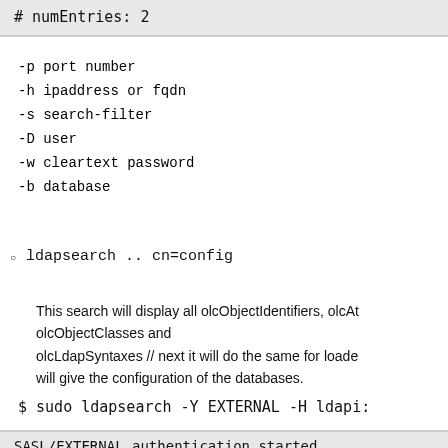# numEntries: 2
-p port number
-h ipaddress or fqdn
-s search-filter
-D user
-w cleartext password
-b database
ldapsearch .. cn=config
This search will display all olcObjectIdentifiers, olcAt olcObjectClasses and olcLdapSyntaxes // next it will do the same for loade will give the configuration of the databases.
$ sudo ldapsearch -Y EXTERNAL -H ldapi:
SASL/EXTERNAL authentication started